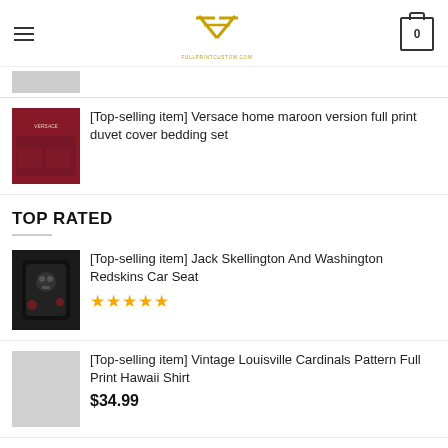Navigation header with hamburger menu, logo, and cart icon showing 0
[Top-selling item] Versace home maroon version full print duvet cover bedding set
TOP RATED
[Top-selling item] Jack Skellington And Washington Redskins Car Seat — 5 stars
[Top-selling item] Vintage Louisville Cardinals Pattern Full Print Hawaii Shirt — $34.99
[Top-selling item] National Football League